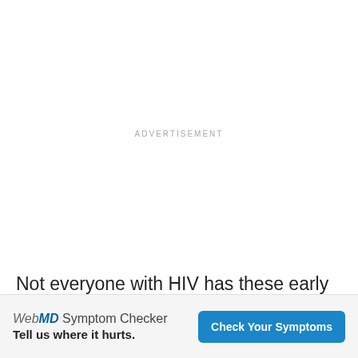ADVERTISEMENT
Not everyone with HIV has these early flu-like symptoms. Only about 1 in 3 people get them. Others may not feel any different
ADVERTISEMENT
WebMD Symptom Checker Tell us where it hurts.
Check Your Symptoms